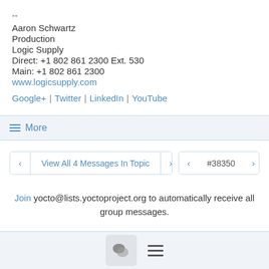--
Aaron Schwartz
Production
Logic Supply
Direct: +1 802 861 2300 Ext. 530
Main: +1 802 861 2300
www.logicsupply.com
Google+ | Twitter | LinkedIn | YouTube
≡ More
< View All 4 Messages In Topic > < #38350 >
Join yocto@lists.yoctoproject.org to automatically receive all group messages.